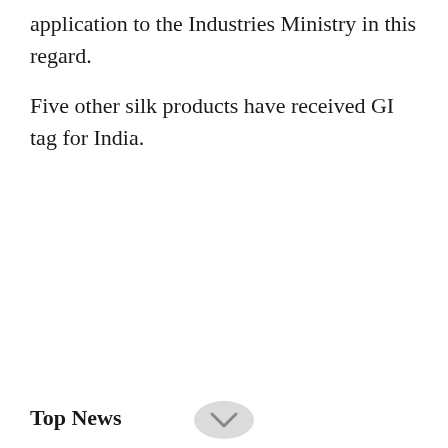application to the Industries Ministry in this regard.
Five other silk products have received GI tag for India.
Top News